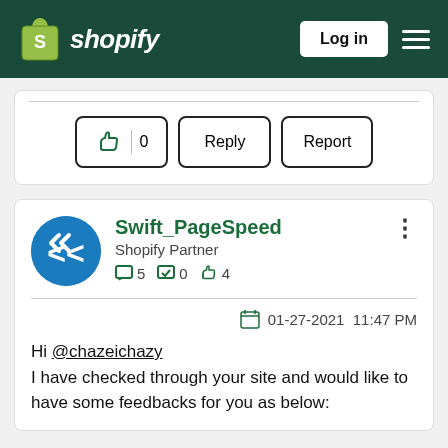Shopify — Log in
[Figure (screenshot): Like button with count 0, Reply button, and Report button]
[Figure (other): User profile: Swift_PageSpeed, Shopify Partner, stats: 5 posts, 0 solutions, 4 likes]
01-27-2021 11:47 PM
Hi @chazeichazy
I have checked through your site and would like to have some feedbacks for you as below: